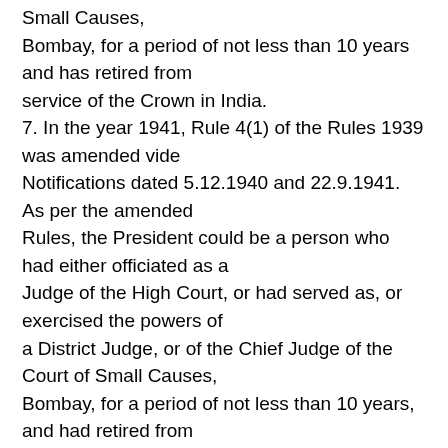Small Causes, Bombay, for a period of not less than 10 years and has retired from service of the Crown in India. 7. In the year 1941, Rule 4(1) of the Rules 1939 was amended vide Notifications dated 5.12.1940 and 22.9.1941. As per the amended Rules, the President could be a person who had either officiated as a Judge of the High Court, or had served as, or exercised the powers of a District Judge, or of the Chief Judge of the Court of Small Causes, Bombay, for a period of not less than 10 years, and had retired from